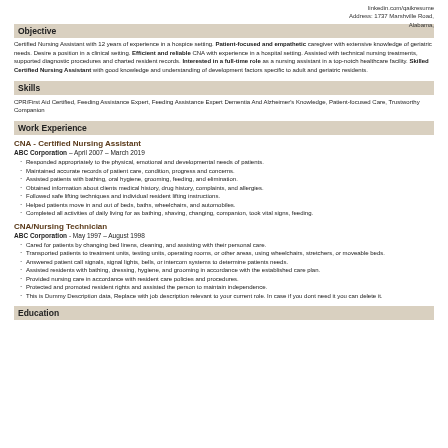linkedin.com/qaikresume
Address: 1737 Marshville Road, Alabama,
Objective
Certified Nursing Assistant with 12 years of experience in a hospice setting. Patient-focused and empathetic caregiver with extensive knowledge of geriatric needs. Desire a position in a clinical setting. Efficient and reliable CNA with experience in a hospital setting. Assisted with technical nursing treatments, supported diagnostic procedures and charted resident records. Interested in a full-time role as a nursing assistant in a top-notch healthcare facility. Skilled Certified Nursing Assistant with good knowledge and understanding of development factors specific to adult and geriatric residents.
Skills
CPR/First Aid Certified, Feeding Assistance Expert, Feeding Assistance Expert Dementia And Alzheimer's Knowledge, Patient-focused Care, Trustworthy Companion
Work Experience
CNA - Certified Nursing Assistant
ABC Corporation - April 2007 – March 2019
Responded appropriately to the physical, emotional and developmental needs of patients.
Maintained accurate records of patient care, condition, progress and concerns.
Assisted patients with bathing, oral hygiene, grooming, feeding, and elimination.
Obtained information about clients medical history, drug history, complaints, and allergies.
Followed safe lifting techniques and individual resident lifting instructions.
Helped patients move in and out of beds, baths, wheelchairs, and automobiles.
Completed all activities of daily living for as bathing, shaving, changing, companion, took vital signs, feeding.
CNA/Nursing Technician
ABC Corporation - May 1997 – August 1998
Cared for patients by changing bed linens, cleaning, and assisting with their personal care.
Transported patients to treatment units, testing units, operating rooms, or other areas, using wheelchairs, stretchers, or moveable beds.
Answered patient call signals, signal lights, bells, or intercom systems to determine patients needs.
Assisted residents with bathing, dressing, hygiene, and grooming in accordance with the established care plan.
Provided nursing care in accordance with resident care policies and procedures.
Protected and promoted resident rights and assisted the person to maintain independence.
This is Dummy Description data, Replace with job description relevant to your current role. In case if you dont need it you can delete it.
Education